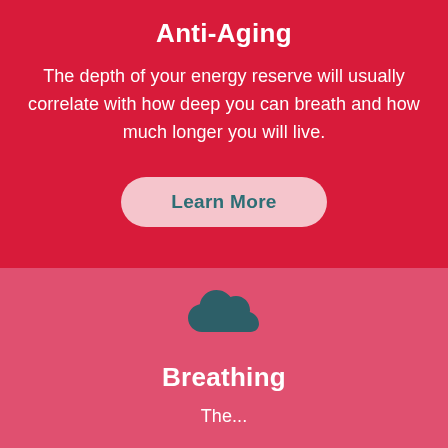Anti-Aging
The depth of your energy reserve will usually correlate with how deep you can breath and how much longer you will live.
[Figure (illustration): A rounded pill-shaped button with light pink background containing the text 'Learn More' in teal color]
[Figure (illustration): A dark teal cloud icon centered on a pink-red background]
Breathing
The...